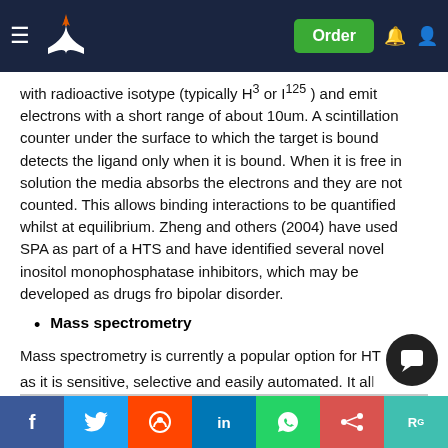Navigation bar with logo and Order button
with radioactive isotype (typically H³ or I¹²⁵) and emit electrons with a short range of about 10um. A scintillation counter under the surface to which the target is bound detects the ligand only when it is bound. When it is free in solution the media absorbs the electrons and they are not counted. This allows binding interactions to be quantified whilst at equilibrium. Zheng and others (2004) have used SPA as part of a HTS and have identified several novel inositol monophosphatase inhibitors, which may be developed as drugs fro bipolar disorder.
Mass spectrometry
Mass spectrometry is currently a popular option for HTS as it is sensitive, selective and easily automated. It allows the activity, molecular weight (most drug-like molecules are 150-400 Da) …al features of test compounds to be determined. This with of…